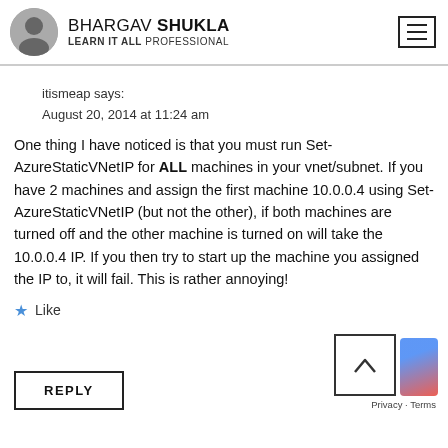BHARGAV SHUKLA — LEARN IT ALL PROFESSIONAL
itismeap says:
August 20, 2014 at 11:24 am
One thing I have noticed is that you must run Set-AzureStaticVNetIP for ALL machines in your vnet/subnet. If you have 2 machines and assign the first machine 10.0.0.4 using Set-AzureStaticVNetIP (but not the other), if both machines are turned off and the other machine is turned on will take the 10.0.0.4 IP. If you then try to start up the machine you assigned the IP to, it will fail. This is rather annoying!
★ Like
REPLY
Privacy · Terms